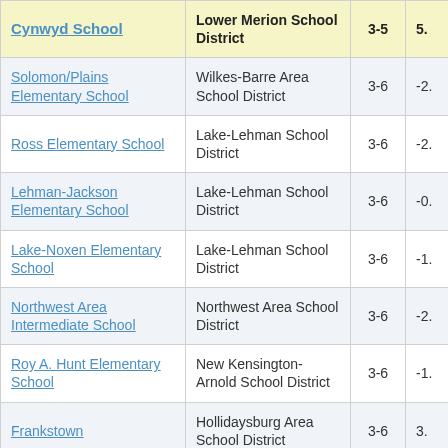| School | District | Grades | Score |
| --- | --- | --- | --- |
| Cynwyd School | Lower Merion School District | 3-5 | 5. |
| Solomon/Plains Elementary School | Wilkes-Barre Area School District | 3-6 | -2. |
| Ross Elementary School | Lake-Lehman School District | 3-6 | -2. |
| Lehman-Jackson Elementary School | Lake-Lehman School District | 3-6 | -0. |
| Lake-Noxen Elementary School | Lake-Lehman School District | 3-6 | -1. |
| Northwest Area Intermediate School | Northwest Area School District | 3-6 | -2. |
| Roy A. Hunt Elementary School | New Kensington-Arnold School District | 3-6 | -1. |
| Frankstown | Hollidaysburg Area School District | 3-6 | 3. |